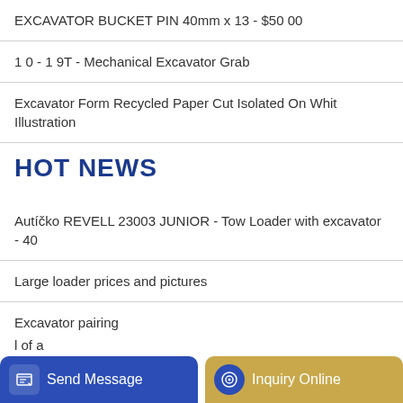EXCAVATOR BUCKET PIN 40mm x 13 - $50 00
1 0 - 1 9T - Mechanical Excavator Grab
Excavator Form Recycled Paper Cut Isolated On Whit Illustration
HOT NEWS
Autíčko REVELL 23003 JUNIOR - Tow Loader with excavator - 40
Large loader prices and pictures
Excavator pairing